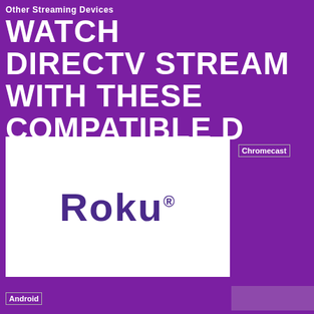Other Streaming Devices
WATCH DIRECTV STREAM WITH THESE COMPATIBLE D
[Figure (logo): Roku logo in white box on purple background]
[Figure (logo): Chromecast image placeholder on purple background]
[Figure (logo): Android image placeholder on purple background]